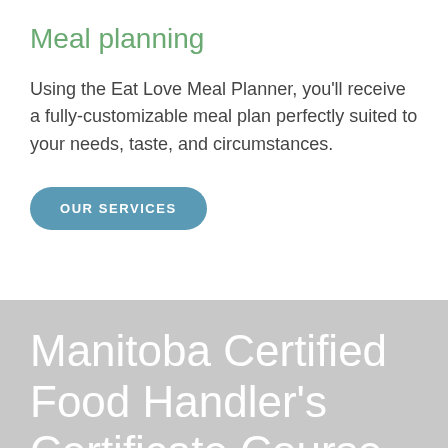Meal planning
Using the Eat Love Meal Planner, you'll receive a fully-customizable meal plan perfectly suited to your needs, taste, and circumstances.
OUR SERVICES
Manitoba Certified Food Handler's Certificate Course